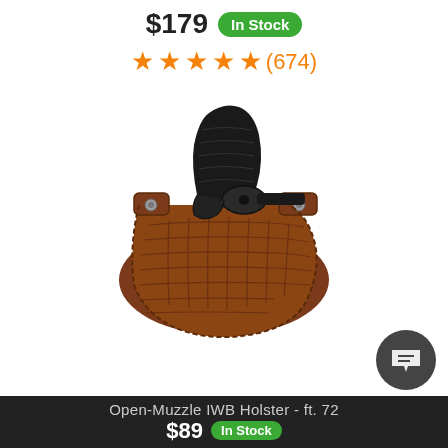$179 In Stock
★★★★★ (674)
[Figure (photo): Brown leather IWB holster with a black revolver partially inserted, showing basket-weave texture and metal hardware snaps, photographed on white background.]
Open-Muzzle IWB Holster - ft. 72
$89 In Stock